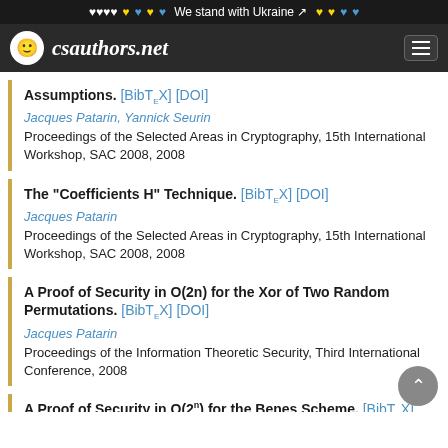We stand with Ukraine
csauthors.net
Assumptions. [BibTeX] [DOI] Jacques Patarin, Yannick Seurin. Proceedings of the Selected Areas in Cryptography, 15th International Workshop, SAC 2008, 2008
The "Coefficients H" Technique. [BibTeX] [DOI] Jacques Patarin. Proceedings of the Selected Areas in Cryptography, 15th International Workshop, SAC 2008, 2008
A Proof of Security in O(2n) for the Xor of Two Random Permutations. [BibTeX] [DOI] Jacques Patarin. Proceedings of the Information Theoretic Security, Third International Conference, 2008
A Proof of Security in O(2<sup>n</sup>) for the Benes Scheme. [BibTeX] [DOI]